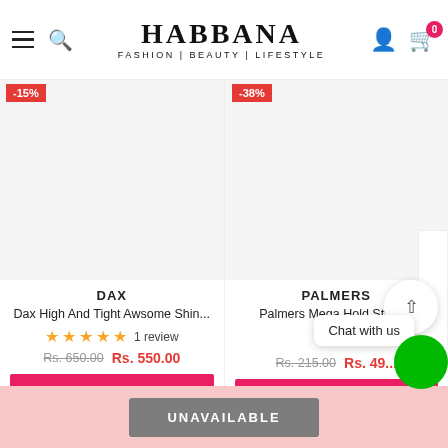[Figure (screenshot): Habbana e-commerce website header with hamburger menu, search icon, HABBANA FASHION | BEAUTY | LIFESTYLE logo, user icon, and cart icon with badge showing 0]
-15%
-38%
DAX
Dax High And Tight Awsome Shin...
1 review
Rs. 650.00  Rs. 550.00
ADD TO CART
PALMERS
Palmers Mega Hold Stylin...
Rs. 215.00  Rs. 49...
ADD TO CART
Chat with us
UNAVAILABLE